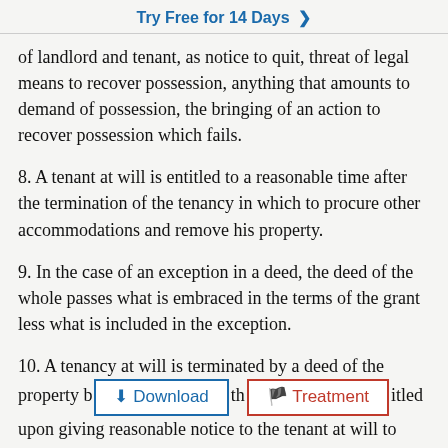Try Free for 14 Days >
of landlord and tenant, as notice to quit, threat of legal means to recover possession, anything that amounts to demand of possession, the bringing of an action to recover possession which fails.
8. A tenant at will is entitled to a reasonable time after the termination of the tenancy in which to procure other accommodations and remove his property.
9. In the case of an exception in a deed, the deed of the whole passes what is embraced in the terms of the grant less what is included in the exception.
10. A tenancy at will is terminated by a deed of the property b[...] the [...] itled upon giving reasonable notice to the tenant at will to vacate the premises to maintain an action to recover